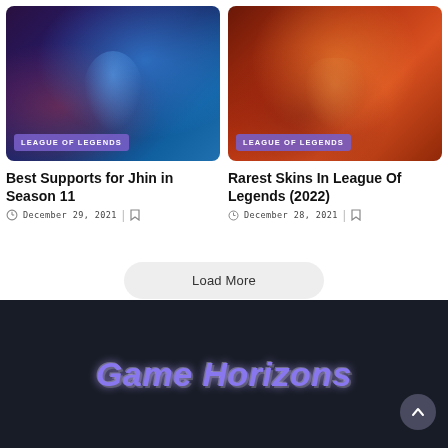[Figure (screenshot): League of Legends game art showing robot/mech character with blue glowing accents on dark purple-blue background]
LEAGUE OF LEGENDS
Best Supports for Jhin in Season 11
December 29, 2021
[Figure (screenshot): League of Legends game art showing armored character on fiery red-orange background]
LEAGUE OF LEGENDS
Rarest Skins In League Of Legends (2022)
December 28, 2021
Load More
Game Horizons